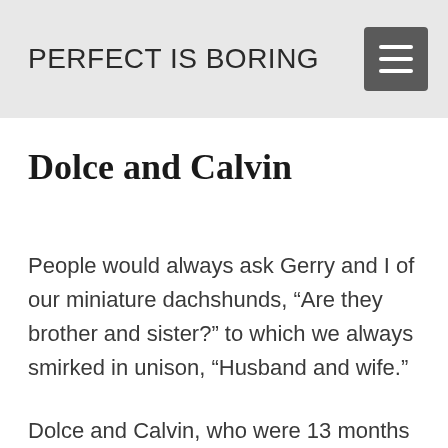PERFECT IS BORING
Dolce and Calvin
People would always ask Gerry and I of our miniature dachshunds, “Are they brother and sister?” to which we always smirked in unison, “Husband and wife.”
Dolce and Calvin, who were 13 months apart, mirrored many